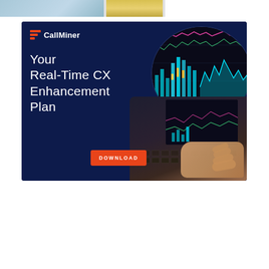[Figure (screenshot): Partial top banner showing snippets of images: a light blue office/workspace photo on the left, a yellow/gold item in the middle, and a dark monitor/screen on the right.]
[Figure (illustration): CallMiner advertisement banner. Dark navy blue background. CallMiner logo (orange chevron/bars icon + white 'CallMiner' text) in top left. Large white text reads 'Your Real-Time CX Enhancement Plan'. Orange 'DOWNLOAD' button. Right side shows a circular cutout with colorful analytics charts and a laptop keyboard with a hand.]